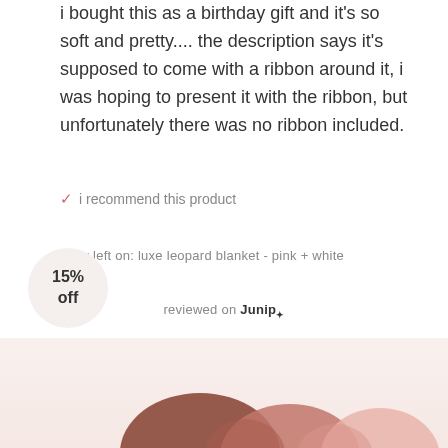i bought this as a birthday gift and it's so soft and pretty.... the description says it's supposed to come with a ribbon around it, i was hoping to present it with the ribbon, but unfortunately there was no ribbon included.
✓ i recommend this product
review left on: luxe leopard blanket - pink + white
reviewed on Junip*
15% off